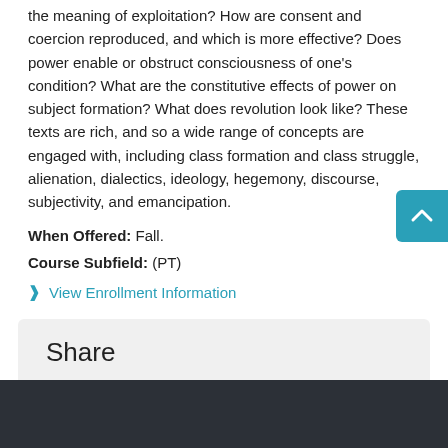the meaning of exploitation? How are consent and coercion reproduced, and which is more effective? Does power enable or obstruct consciousness of one's condition? What are the constitutive effects of power on subject formation? What does revolution look like? These texts are rich, and so a wide range of concepts are engaged with, including class formation and class struggle, alienation, dialectics, ideology, hegemony, discourse, subjectivity, and emancipation.
When Offered: Fall.
Course Subfield: (PT)
View Enrollment Information
Share
Disabled for this roster.